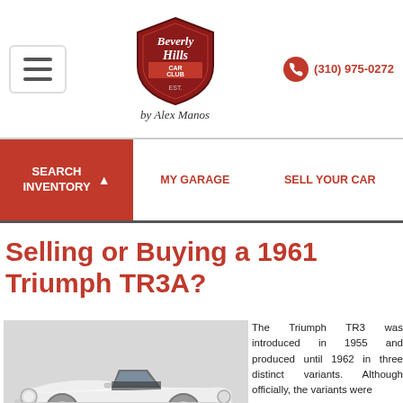Beverly Hills Car Club by Alex Manos — (310) 975-0272
SEARCH INVENTORY | MY GARAGE | SELL YOUR CAR
Selling or Buying a 1961 Triumph TR3A?
[Figure (photo): White 1961 Triumph TR3A convertible sports car photographed from a front three-quarter angle]
The Triumph TR3 was introduced in 1955 and produced until 1962 in three distinct variants. Although officially, the variants were